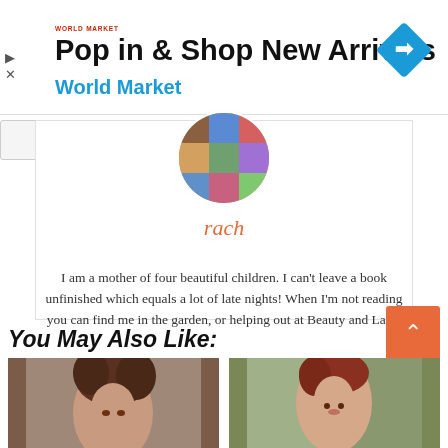[Figure (screenshot): Advertisement banner for World Market - 'Pop in & Shop New Arrivals World Market']
rach
I am a mother of four beautiful children. I can't leave a book unfinished which equals a lot of late nights! When I'm not reading you can find me in the garden, or helping out at Beauty and Lace.
You May Also Like:
[Figure (photo): Two thumbnail photos of women at the bottom of the page]